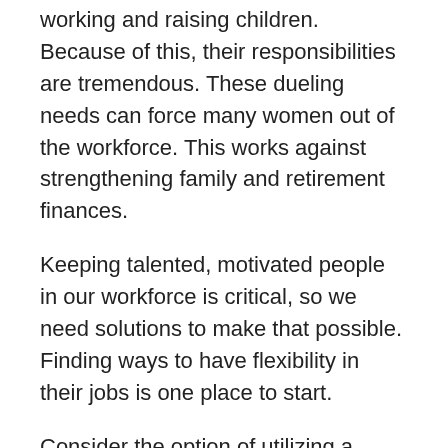working and raising children. Because of this, their responsibilities are tremendous. These dueling needs can force many women out of the workforce. This works against strengthening family and retirement finances.
Keeping talented, motivated people in our workforce is critical, so we need solutions to make that possible. Finding ways to have flexibility in their jobs is one place to start.
Consider the option of utilizing a team. If one team member has a family emergency, the remaining colleagues will have enough knowledge to temporarily step in. Small groups are generally used for most projects; therefore, this seems like a natural option.
Utilizing various age groups in a team may